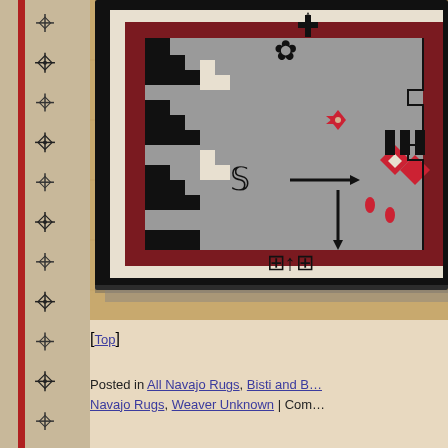[Figure (photo): Close-up photograph of a Navajo rug leaning against a light wood surface. The rug features traditional geometric patterns in dark brown/black, white, red/burgundy, and gray. Visible motifs include cross/star symbols, stepped geometric borders, and central design elements characteristic of Navajo weaving.]
[Top]
Posted in All Navajo Rugs, Bisti and B... Navajo Rugs, Weaver Unknown | Com...